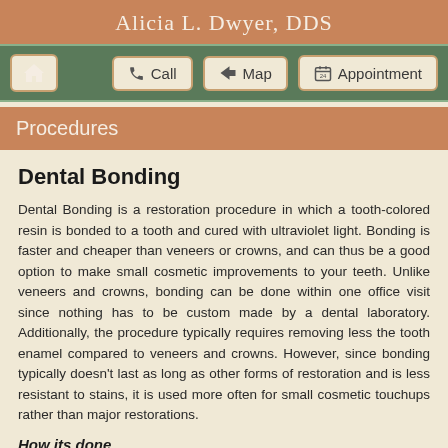Alicia L. Dwyer, DDS
[Figure (screenshot): Navigation bar with Home, Call, Map, and Appointment buttons on green background]
Procedures
Dental Bonding
Dental Bonding is a restoration procedure in which a tooth-colored resin is bonded to a tooth and cured with ultraviolet light. Bonding is faster and cheaper than veneers or crowns, and can thus be a good option to make small cosmetic improvements to your teeth. Unlike veneers and crowns, bonding can be done within one office visit since nothing has to be custom made by a dental laboratory. Additionally, the procedure typically requires removing less the tooth enamel compared to veneers and crowns. However, since bonding typically doesn't last as long as other forms of restoration and is less resistant to stains, it is used more often for small cosmetic touchups rather than major restorations.
How its done
he bonding procedure typically requires between 30 to 60 minutes